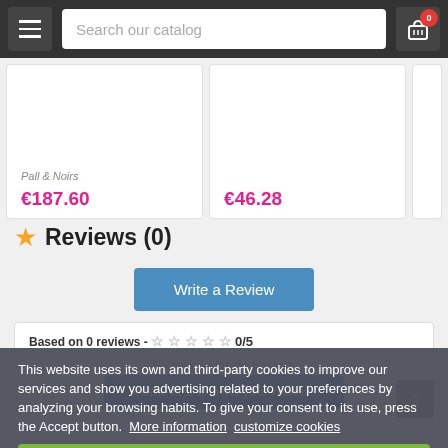Search our catalog
€187.60
€46.28
Reviews (0)
Write a Review
Based on 0 reviews - 0/5
No reviews for the product.
Be the first to write your review !
This website uses its own and third-party cookies to improve our services and show you advertising related to your preferences by analyzing your browsing habits. To give your consent to its use, press the Accept button.  More information   customize cookies
I ACCEPT